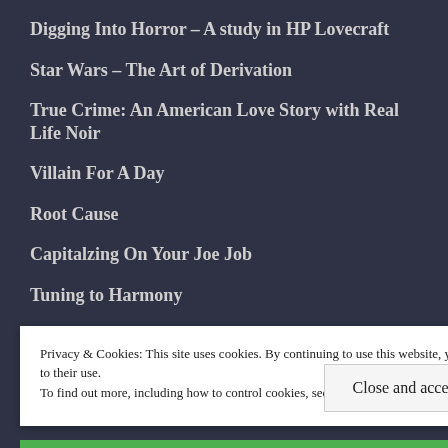Digging Into Horror – A study in HP Lovecraft
Star Wars – The Art of Derivation
True Crime: An American Love Story with Real Life Noir
Villain For A Day
Root Cause
Capitalzing On Your Joe Job
Tuning to Harmony
Planning Your Escape
Conflict is the Grandmother of All Invention
Privacy & Cookies: This site uses cookies. By continuing to use this website, you agree to their use. To find out more, including how to control cookies, see here: Cookie Policy
Close and accept